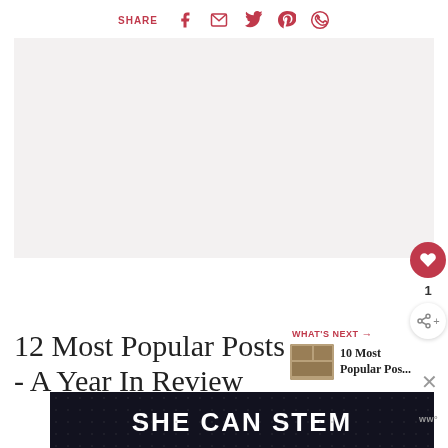SHARE
[Figure (screenshot): Social share bar with Facebook, email, Twitter, Pinterest, and WhatsApp icons in red]
[Figure (photo): Large light grey advertisement/image placeholder area]
12 Most Popular Posts - A Year In Review
WHAT'S NEXT → 10 Most Popular Pos...
[Figure (screenshot): SHE CAN STEM banner image with white bold text on dark starry background]